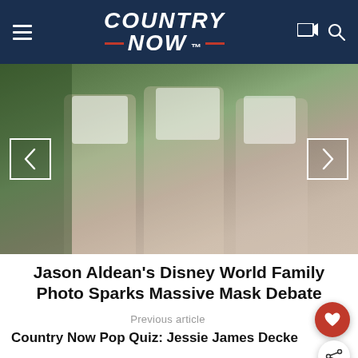COUNTRY NOW
[Figure (photo): Photo of several young girls/women wearing casual t-shirts and denim shorts, appearing to be at Disney World, with greenery in the background. Navigation arrows visible on left and right sides.]
Jason Aldean's Disney World Family Photo Sparks Massive Mask Debate
Previous article
Country Now Pop Quiz: Jessie James Decke